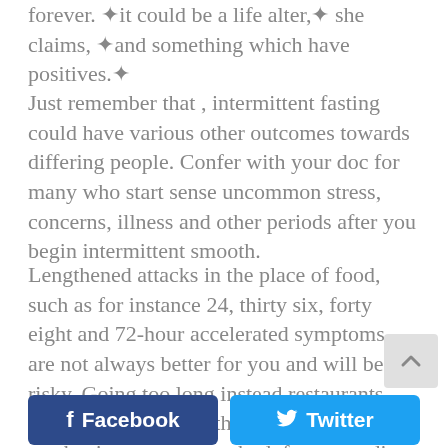forever. ❖it could be a life alter,❖ she claims, ❖and something which have positives.❖
Just remember that , intermittent fasting could have various other outcomes towards differing people. Confer with your doc for many who start sense uncommon stress, concerns, illness and other periods after you begin intermittent smooth.
Lengthened attacks in the place of food, such as for instance 24, thirty six, forty eight and 72-hour accelerated symptoms, are not always better for you and will be risky. Going too long instead restaurants may actually remind the human body so you can begin storage more bodyfat responding to starvation.
[Figure (other): Facebook and Twitter share buttons at the bottom of the page]